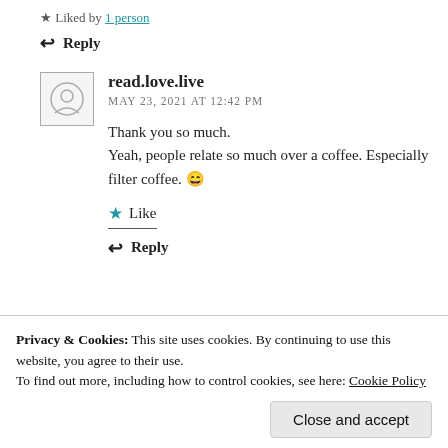Liked by 1 person
Reply
read.love.live
MAY 23, 2021 AT 12:42 PM
Thank you so much.
Yeah, people relate so much over a coffee. Especially filter coffee. 😄
Like
Reply
Privacy & Cookies: This site uses cookies. By continuing to use this website, you agree to their use.
To find out more, including how to control cookies, see here: Cookie Policy
Close and accept